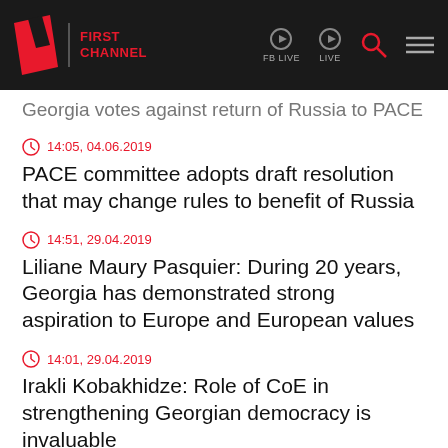[Figure (logo): First Channel logo with red rhombus shape and text 'FIRST CHANNEL' on dark background header with FB LIVE, LIVE icons, search and menu buttons]
Georgia votes against return of Russia to PACE
14:05, 04.06.2019
PACE committee adopts draft resolution that may change rules to benefit of Russia
14:51, 29.04.2019
Liliane Maury Pasquier: During 20 years, Georgia has demonstrated strong aspiration to Europe and European values
14:01, 29.04.2019
Irakli Kobakhidze: Role of CoE in strengthening Georgian democracy is invaluable